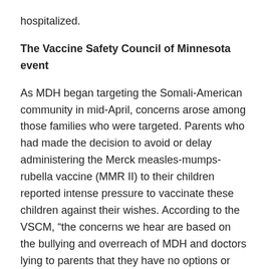hospitalized.
The Vaccine Safety Council of Minnesota event
As MDH began targeting the Somali-American community in mid-April, concerns arose among those families who were targeted. Parents who had made the decision to avoid or delay administering the Merck measles-mumps-rubella vaccine (MMR II) to their children reported intense pressure to vaccinate these children against their wishes. According to the VSCM, “the concerns we hear are based on the bullying and overreach of MDH and doctors lying to parents that they have no options or choice on medical decisions for their children.”
Eager to provide a counterbalance to this pressure, a group of Somali parents reached out to the VSCM and asked them